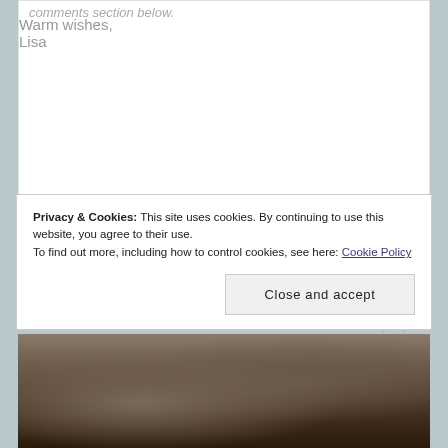comments section below.
Warm wishes,
Lisa
Privacy & Cookies: This site uses cookies. By continuing to use this website, you agree to their use.
To find out more, including how to control cookies, see here: Cookie Policy
Close and accept
[Figure (photo): Bottom strip showing a partial photo, appears to be people in a dark/warm-toned outdoor scene]